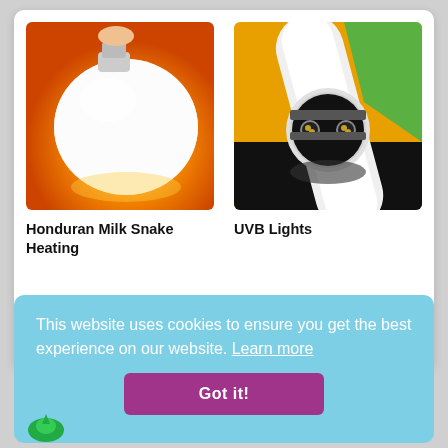[Figure (photo): Close-up photo of a white incandescent/halogen bulb against warm orange glowing background]
[Figure (photo): Close-up photo of end of a fluorescent tube lamp showing two gold pins, against yellow, green, and black background]
Honduran Milk Snake Heating
UVB Lights
This website uses cookies to ensure you get the best experience on our website. Learn more
Got it!